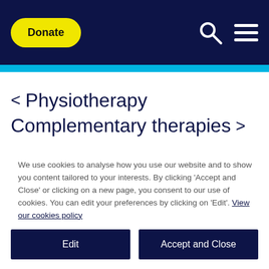[Figure (screenshot): Website navigation bar with dark navy background, yellow Donate button, search icon, and hamburger menu icon]
< Physiotherapy
Complementary therapies >
We use cookies to analyse how you use our website and to show you content tailored to your interests. By clicking 'Accept and Close' or clicking on a new page, you consent to our use of cookies. You can edit your preferences by clicking on 'Edit'. View our cookies policy
Edit
Accept and Close